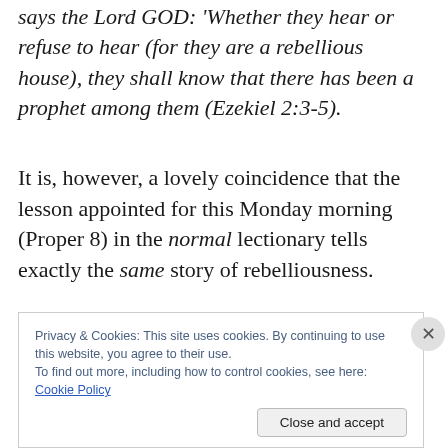says the Lord GOD: 'Whether they hear or refuse to hear (for they are a rebellious house), they shall know that there has been a prophet among them (Ezekiel 2:3-5).
It is, however, a lovely coincidence that the lesson appointed for this Monday morning (Proper 8) in the normal lectionary tells exactly the same story of rebelliousness.
Privacy & Cookies: This site uses cookies. By continuing to use this website, you agree to their use.
To find out more, including how to control cookies, see here: Cookie Policy